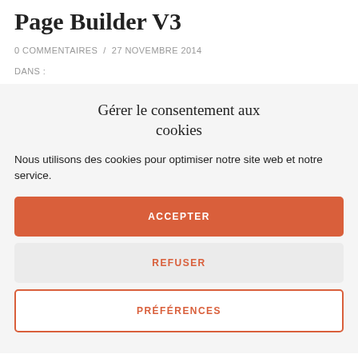Page Builder V3
0 COMMENTAIRES / 27 NOVEMBRE 2014
DANS :
Gérer le consentement aux cookies
Nous utilisons des cookies pour optimiser notre site web et notre service.
ACCEPTER
REFUSER
PRÉFÉRENCES